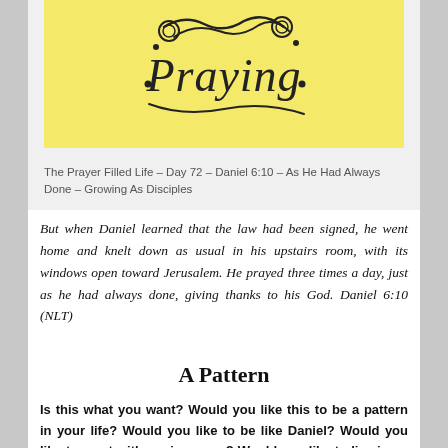[Figure (illustration): Yellow background with decorative hand-lettered text reading 'Praying' with swirly decorative elements]
The Prayer Filled Life – Day 72 – Daniel 6:10 – As He Had Always Done – Growing As Disciples
But when Daniel learned that the law had been signed, he went home and knelt down as usual in his upstairs room, with its windows open toward Jerusalem. He prayed three times a day, just as he had always done, giving thanks to his God. Daniel 6:10 (NLT)
A Pattern
Is this what you want? Would you like this to be a pattern in your life? Would you like to be like Daniel? Would you like to meet with me in prayer? Would you like to live in an ongoing and intimate relationship